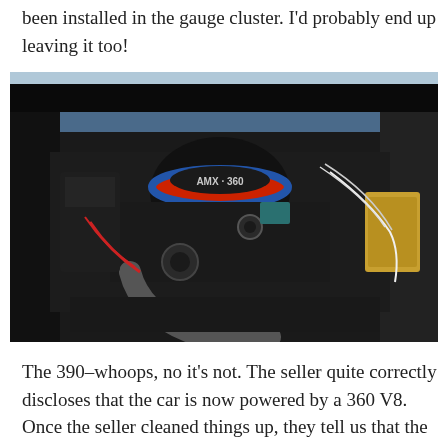been installed in the gauge cluster. I'd probably end up leaving it too!
[Figure (photo): Engine bay photo showing an AMX 360 engine with black engine compartment, air cleaner labeled 'AMX 360', various hoses and wiring visible]
The 390–whoops, no it's not. The seller quite correctly discloses that the car is now powered by a 360 V8. Once the seller cleaned things up, they tell us that the car will start instantly and idle nicely without the aid of starting fluid. They have only run the car off a separate